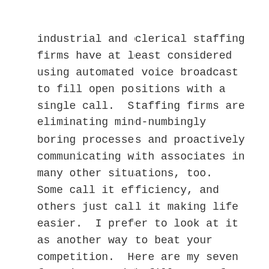industrial and clerical staffing firms have at least considered using automated voice broadcast to fill open positions with a single call.  Staffing firms are eliminating mind-numbingly boring processes and proactively communicating with associates in many other situations, too.  Some call it efficiency, and others just call it making life easier.  I prefer to look at it as another way to beat your competition.  Here are my seven favorite non-job fill uses of Call-Em-All by staffing clients:
1. Chasing Down Missing